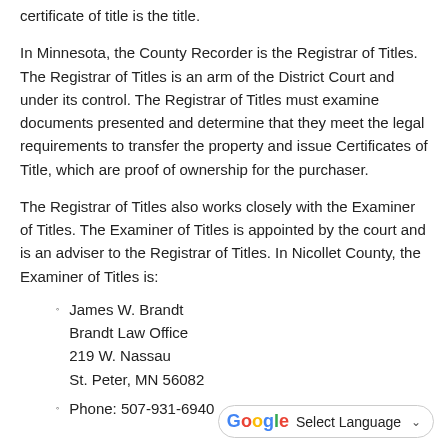certificate of title is the title.
In Minnesota, the County Recorder is the Registrar of Titles. The Registrar of Titles is an arm of the District Court and under its control. The Registrar of Titles must examine documents presented and determine that they meet the legal requirements to transfer the property and issue Certificates of Title, which are proof of ownership for the purchaser.
The Registrar of Titles also works closely with the Examiner of Titles. The Examiner of Titles is appointed by the court and is an adviser to the Registrar of Titles. In Nicollet County, the Examiner of Titles is:
James W. Brandt
Brandt Law Office
219 W. Nassau
St. Peter, MN 56082
Phone: 507-931-6940